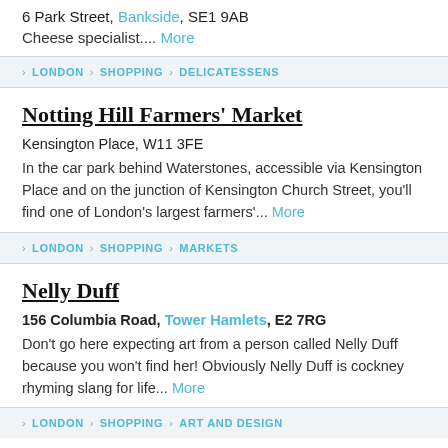6 Park Street, Bankside, SE1 9AB
Cheese specialist.... More
> LONDON > SHOPPING > DELICATESSENS
Notting Hill Farmers' Market
Kensington Place, W11 3FE
In the car park behind Waterstones, accessible via Kensington Place and on the junction of Kensington Church Street, you'll find one of London's largest farmers'... More
> LONDON > SHOPPING > MARKETS
Nelly Duff
156 Columbia Road, Tower Hamlets, E2 7RG
Don't go here expecting art from a person called Nelly Duff because you won't find her! Obviously Nelly Duff is cockney rhyming slang for life... More
> LONDON > SHOPPING > ART AND DESIGN